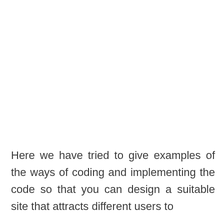Here we have tried to give examples of the ways of coding and implementing the code so that you can design a suitable site that attracts different users to